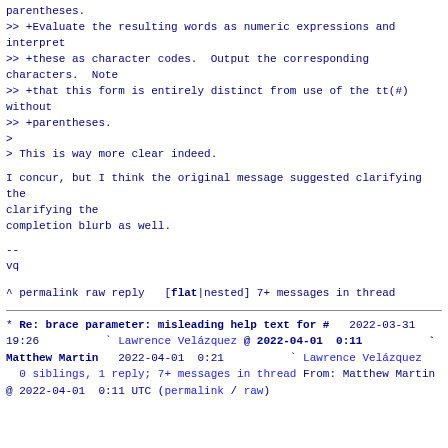>> +entirely, distinct from use of the tt(#) without
parentheses.
>> +Evaluate the resulting words as numeric expressions and interpret
>> +these as character codes.  Output the corresponding characters.  Note
>> +that this form is entirely distinct from use of the tt(#) without
>> +parentheses.
>
> This is way more clear indeed.
I concur, but I think the original message suggested clarifying the
completion blurb as well.
--
vq
^ permalink raw reply   [flat|nested] 7+ messages in thread
* Re:  brace parameter: misleading help text for #
  2022-03-31 19:26          ` Lawrence Velázquez
@ 2022-04-01  0:11          ` Matthew Martin
  2022-04-01  0:21          ` Lawrence Velázquez
  0 siblings, 1 reply; 7+ messages in thread
From: Matthew Martin @ 2022-04-01  0:11 UTC (permalink
/ raw)